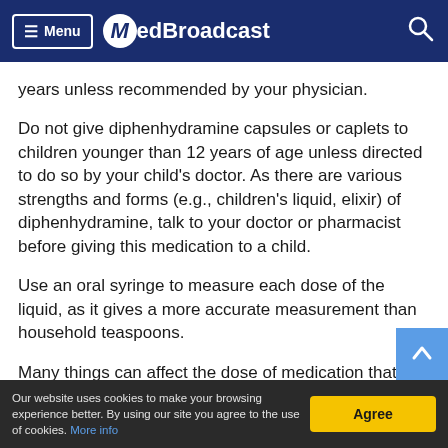MedBroadcast
years unless recommended by your physician.
Do not give diphenhydramine capsules or caplets to children younger than 12 years of age unless directed to do so by your child's doctor. As there are various strengths and forms (e.g., children's liquid, elixir) of diphenhydramine, talk to your doctor or pharmacist before giving this medication to a child.
Use an oral syringe to measure each dose of the liquid, as it gives a more accurate measurement than household teaspoons.
Many things can affect the dose of medication that a person needs, such as body weight, other medical
Our website uses cookies to make your browsing experience better. By using our site you agree to the use of cookies. More info